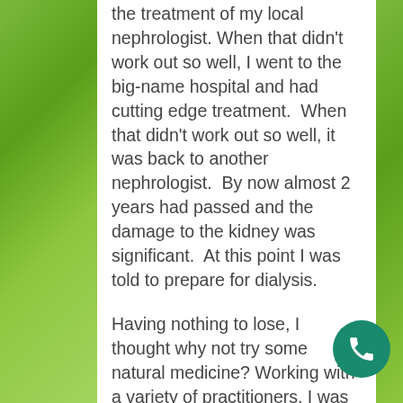the treatment of my local nephrologist. When that didn't work out so well, I went to the big-name hospital and had cutting edge treatment. When that didn't work out so well, it was back to another nephrologist. By now almost 2 years had passed and the damage to the kidney was significant. At this point I was told to prepare for dialysis.
Having nothing to lose, I thought why not try some natural medicine? Working with a variety of practitioners, I was able to slow the progression and delay the need for dialysis. I wondered, how much more effective would this have